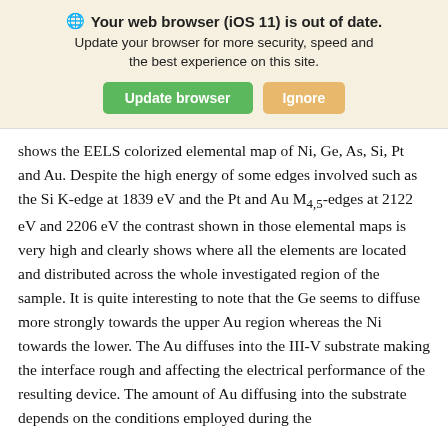[Figure (screenshot): Browser update warning banner with green 'Update browser' button and orange 'Ignore' button on a beige background. Text reads: 'Your web browser (iOS 11) is out of date. Update your browser for more security, speed and the best experience on this site.']
shows the EELS colorized elemental map of Ni, Ge, As, Si, Pt and Au. Despite the high energy of some edges involved such as the Si K-edge at 1839 eV and the Pt and Au M4,5-edges at 2122 eV and 2206 eV the contrast shown in those elemental maps is very high and clearly shows where all the elements are located and distributed across the whole investigated region of the sample. It is quite interesting to note that the Ge seems to diffuse more strongly towards the upper Au region whereas the Ni towards the lower. The Au diffuses into the III-V substrate making the interface rough and affecting the electrical performance of the resulting device. The amount of Au diffusing into the substrate depends on the conditions employed during the